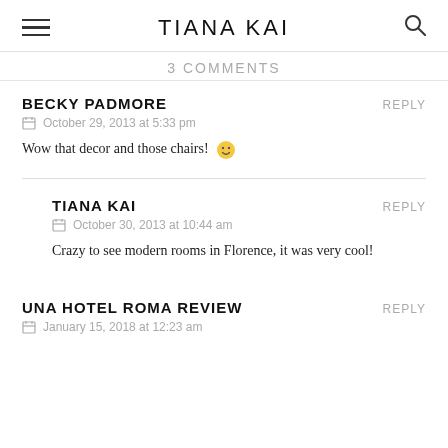TIANA KAI
3 COMMENTS
BECKY PADMORE
October 29, 2013 at 5:33 pm
Wow that decor and those chairs! 🙂
TIANA KAI
October 30, 2013 at 10:44 am
Crazy to see modern rooms in Florence, it was very cool!
UNA HOTEL ROMA REVIEW
January 15, 2018 at 12:23 am